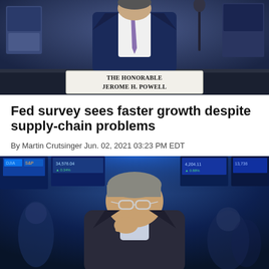[Figure (photo): Man in navy blue suit with purple tie seated at a hearing table with a name placard reading 'The Honorable Jerome H. Powell']
Fed survey sees faster growth despite supply-chain problems
By Martin Crutsinger Jun. 02, 2021 03:23 PM EDT
[Figure (photo): A man with glasses and grey hair in a dark suit on the floor of a stock exchange, with colorful trading screens visible in the background]